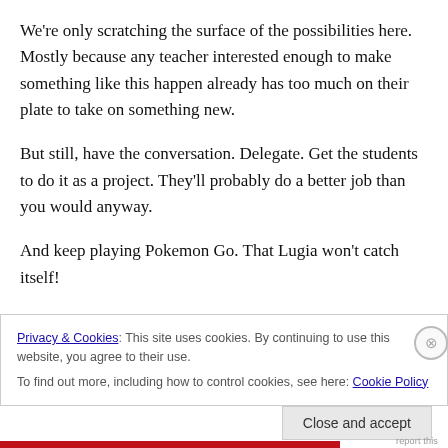We're only scratching the surface of the possibilities here. Mostly because any teacher interested enough to make something like this happen already has too much on their plate to take on something new.
But still, have the conversation. Delegate. Get the students to do it as a project. They'll probably do a better job than you would anyway.
And keep playing Pokemon Go. That Lugia won't catch itself!
Privacy & Cookies: This site uses cookies. By continuing to use this website, you agree to their use.
To find out more, including how to control cookies, see here: Cookie Policy